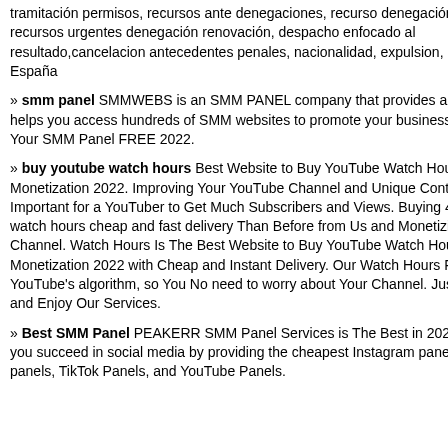tramitación permisos, recursos ante denegaciones, recurso denegación visado, recursos urgentes denegación renovación, despacho enfocado al resultado,cancelacion antecedentes penales, nacionalidad, expulsion, entrada en España
» smm panel SMMWEBS is an SMM PANEL company that provides a service that helps you access hundreds of SMM websites to promote your business online. Boost Your SMM Panel FREE 2022.
» buy youtube watch hours Best Website to Buy YouTube Watch Hours For Monetization 2022. Improving Your YouTube Channel and Unique Content is Important for a YouTuber to Get Much Subscribers and Views. Buying 4000 YouTube watch hours cheap and fast delivery Than Before from Us and Monetizing your Channel. Watch Hours Is The Best Website to Buy YouTube Watch Hours For Monetization 2022 with Cheap and Instant Delivery. Our Watch Hours Follow YouTube's algorithm, so You No need to worry about Your Channel. Just Place Order and Enjoy Our Services.
» Best SMM Panel PEAKERR SMM Panel Services is The Best in 2022 will help you succeed in social media by providing the cheapest Instagram panels, Facebook panels, TikTok Panels, and YouTube Panels.
PUT YOUR 468
only $1/dire
Alexa Traffic
Alexa Traffic for http://www.helping